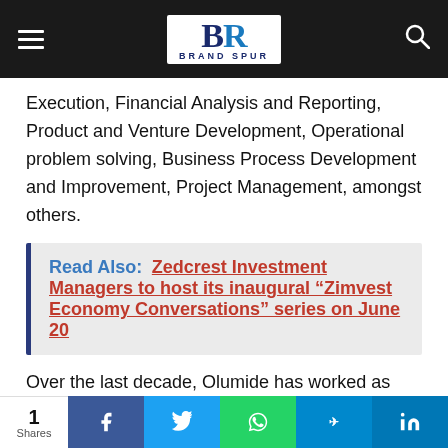Brand Spur
Execution, Financial Analysis and Reporting, Product and Venture Development, Operational problem solving, Business Process Development and Improvement, Project Management, amongst others.
Read Also:  Zedcrest Investment Managers to host its inaugural “Zimvest Economy Conversations” series on June 20
Over the last decade, Olumide has worked as Corporate Finance and Governance Consultant for Phillips Consulting Limited (a leading business and management Consulting firm
1 Shares | Facebook | Twitter | WhatsApp | Telegram | LinkedIn